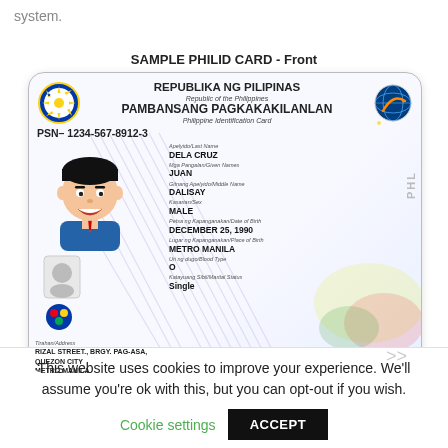system.
SAMPLE PHILID CARD - Front
[Figure (photo): Sample Philippine National ID (PhilSys) card - front face showing Republic of the Philippines / Pambansang Pagkakakilanlan card with PSN 1234-567-8912-3, cartoon avatar photo, and personal details for DELA CRUZ, JUAN DALISAY, MALE, born DECEMBER 25, 1990 in METRO MANILA, blood type O, Single, address RIZAL STREET, BRGY. PAG-ASA, QUEZON CITY, METRO MANILA.]
This website uses cookies to improve your experience. We'll assume you're ok with this, but you can opt-out if you wish.
Cookie settings
ACCEPT